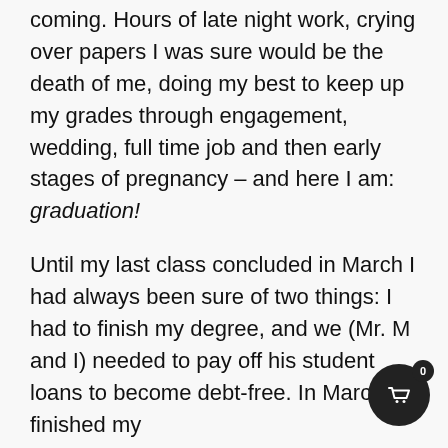coming. Hours of late night work, crying over papers I was sure would be the death of me, doing my best to keep up my grades through engagement, wedding, full time job and then early stages of pregnancy – and here I am: graduation!
Until my last class concluded in March I had always been sure of two things: I had to finish my degree, and we (Mr. M and I) needed to pay off his student loans to become debt-free. In March, I finished my